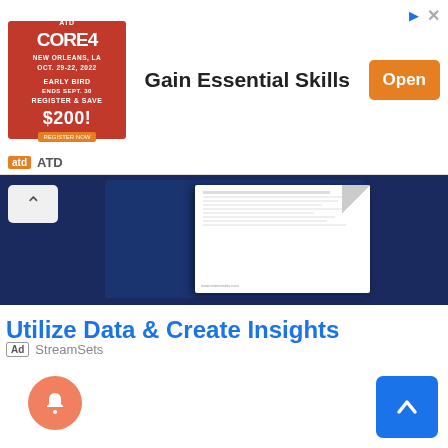[Figure (screenshot): ATD Core 4 conference ad banner with red event image on left, 'Gain Essential Skills' text in center, and orange 'Open' button on right]
atd ATD
[Figure (screenshot): StreamSets ad showing dark blue banner with document mockup and chevron/up button overlay]
Utilize Data & Create Insights
Ad  StreamSets